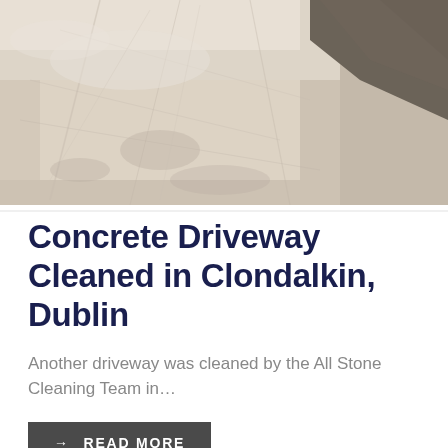[Figure (photo): A concrete driveway surface photographed from above at an angle, showing a light grey/beige worn concrete texture with some dirt and slight discoloration. Dark gravel or pavement visible at the top right corner.]
Concrete Driveway Cleaned in Clondalkin, Dublin
Another driveway was cleaned by the All Stone Cleaning Team in…
→ READ MORE